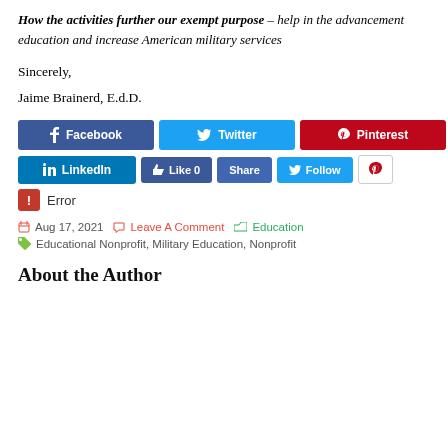How the activities further our exempt purpose – help in the advancement education and increase American military services
Sincerely,
Jaime Brainerd, E.d.D.
[Figure (infographic): Social media share buttons: Facebook, Twitter, Pinterest in row 1; LinkedIn, Like 0, Share, Follow, Pinterest icon in row 2; Error badge below]
Aug 17, 2021   Leave A Comment   Education
Educational Nonprofit, Military Education, Nonprofit
About the Author